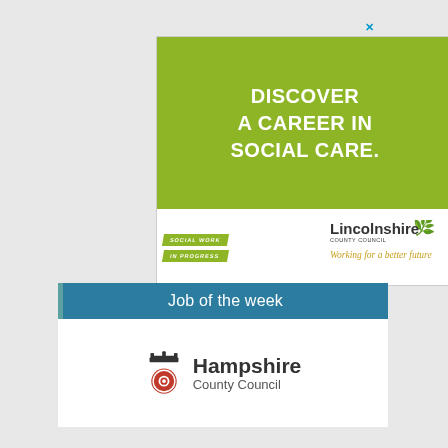[Figure (illustration): Lincolnshire County Council advertisement: green banner reading 'DISCOVER A CAREER IN SOCIAL CARE.' with Social Work In Progress badge and Lincolnshire County Council logo with tagline 'Working for a better future']
Job of the week
[Figure (logo): Hampshire County Council logo with crown crest and red circular emblem]